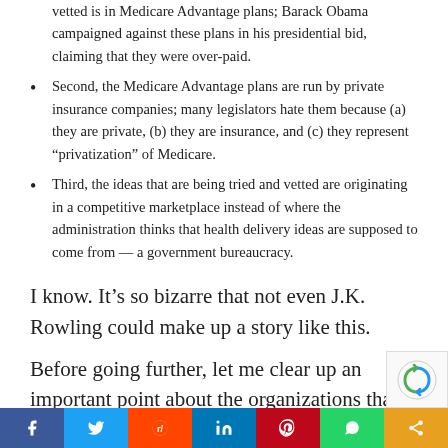vetted is in Medicare Advantage plans; Barack Obama campaigned against these plans in his presidential bid, claiming that they were over-paid.
Second, the Medicare Advantage plans are run by private insurance companies; many legislators hate them because (a) they are private, (b) they are insurance, and (c) they represent “privatization” of Medicare.
Third, the ideas that are being tried and vetted are originating in a competitive marketplace instead of where the administration thinks that health delivery ideas are supposed to come from — a government bureaucracy.
I know. It’s so bizarre that not even J.K. Rowling could make up a story like this.
Before going further, let me clear up an important point about the organizations that are involved in Medicare Advantage.